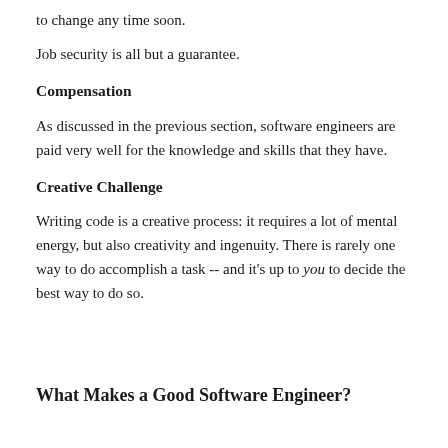to change any time soon.
Job security is all but a guarantee.
Compensation
As discussed in the previous section, software engineers are paid very well for the knowledge and skills that they have.
Creative Challenge
Writing code is a creative process: it requires a lot of mental energy, but also creativity and ingenuity. There is rarely one way to do accomplish a task -- and it's up to you to decide the best way to do so.
What Makes a Good Software Engineer?